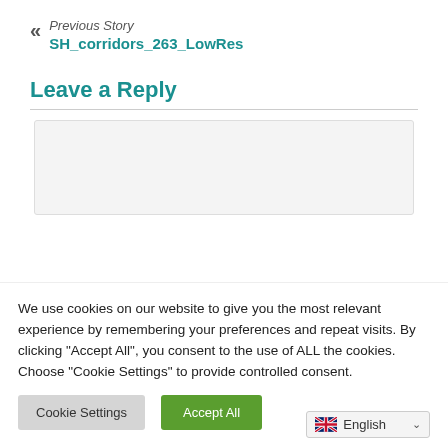Previous Story
SH_corridors_263_LowRes
Leave a Reply
[Figure (screenshot): Comment text area input box, light gray background]
We use cookies on our website to give you the most relevant experience by remembering your preferences and repeat visits. By clicking “Accept All”, you consent to the use of ALL the cookies. Choose "Cookie Settings" to provide controlled consent.
Cookie Settings | Accept All
English